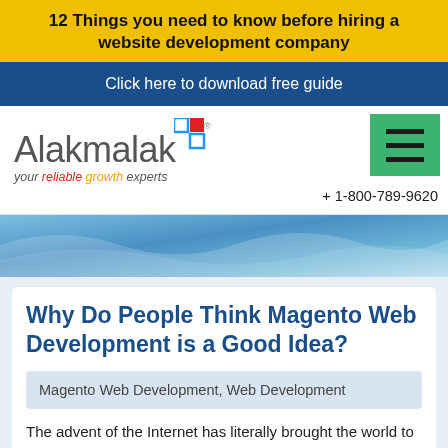12 Things you need to know before hiring a website development company
Click here to download free guide
[Figure (logo): Alakmalak logo with colored squares icon and tagline 'your reliable growth experts']
[Figure (illustration): Green hamburger menu button with three horizontal lines]
+ 1-800-789-9620
[Figure (illustration): Blue wave decorative banner]
Why Do People Think Magento Web Development is a Good Idea?
Magento Web Development, Web Development
The advent of the Internet has literally brought the world to your fingertips – in fact, nowadays you